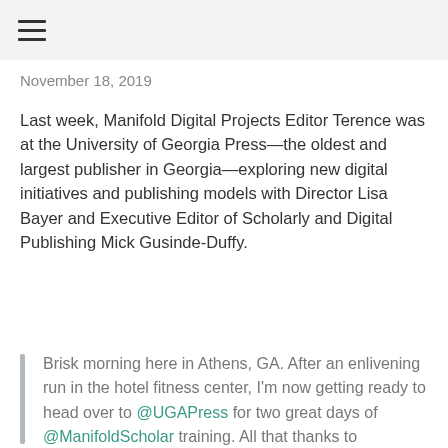☰
November 18, 2019
Last week, Manifold Digital Projects Editor Terence was at the University of Georgia Press—the oldest and largest publisher in Georgia—exploring new digital initiatives and publishing models with Director Lisa Bayer and Executive Editor of Scholarly and Digital Publishing Mick Gusinde-Duffy.
Brisk morning here in Athens, GA. After an enlivening run in the hotel fitness center, I'm now getting ready to head over to @UGAPress for two great days of @ManifoldScholar training. All that thanks to @Mickodopolous for setting a fantastic